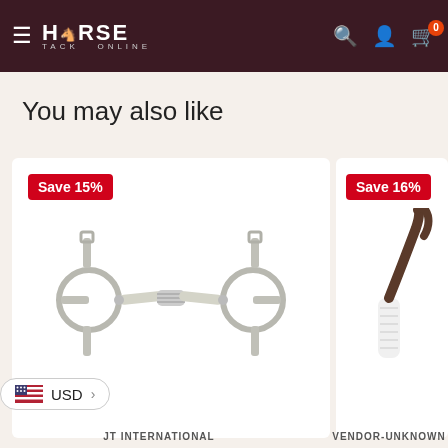Horse Tack Online - navigation header with logo, search, account, and cart (0 items)
You may also like
[Figure (photo): Horse bit hardware product - silver metal snaffle bit with D-rings, shown on white background. Save 15% badge.]
[Figure (photo): Dark brown leather/crop handle product partially visible. Save 16% badge. Vendor: VENDOR-UNKNOWN.]
USD currency selector
JT INTERNATIONAL
VENDOR-UNKNOWN